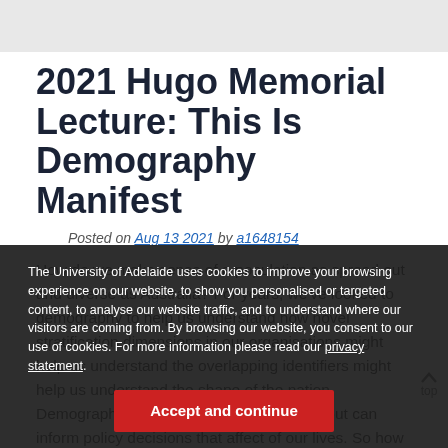2021 Hugo Memorial Lecture: This Is Demography Manifest
Posted on Aug 13 2021 by a1648154
How do we make sense of a population as spread out and diverse as Australia? For years, we've looked to demography to help us understand how novel stratification dimensions in our organisations might help us understand the overlapping identifiers might help us understand the shape of the nation. Demography rarely makes the front page, but can inform policy decisions that affect of our lives. So how can demography help us understand contemporary Australia?
The University of Adelaide uses cookies to improve your browsing experience on our website, to show you personalised or targeted content, to analyse our website traffic, and to understand where our visitors are coming from. By browsing our website, you consent to our use of cookies. For more information please read our privacy statement.